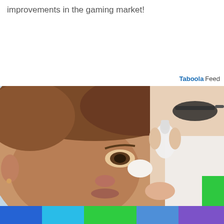improvements in the gaming market!
[Figure (photo): A medical professional applying eye drops to an older woman's eye. The woman is looking up while a gloved hand administers eye drops. Taboola Feed label appears in the upper right corner above the photo.]
[Figure (infographic): Bottom navigation bar with five colored segments: blue, sky blue, green, cornflower blue, and purple. A green square element overlaps above the bar on the right side.]